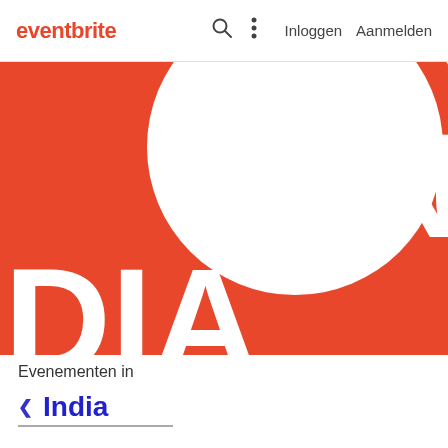eventbrite   🔍  ⋮   Inloggen  Aanmelden
[Figure (illustration): Large orange/red circle graphic with white interior cutout forming a donut/crescent shape, with white text letters 'DIA' visible at bottom left and partial letter 'N' or 'I' at top right — part of the word 'INDIA' styled in a large graphic logo treatment.]
Evenementen in
India